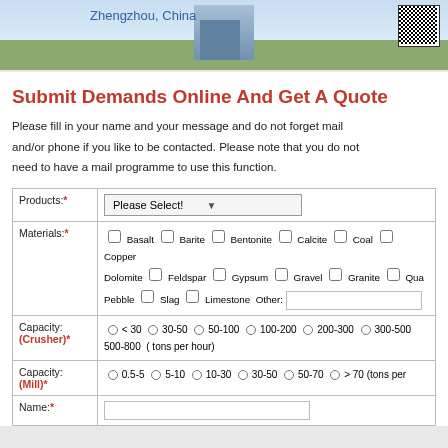[Figure (photo): Header image showing a city skyline with building, Zhengzhou China text, and a QR code in the top right]
Submit Demands Online And Get A Quote
Please fill in your name and your message and do not forget mail and/or phone if you like to be contacted. Please note that you do not need to have a mail programme to use this function.
| Products:* | Please Select! |
| Materials:* | ☐ Basalt ☐ Barite ☐ Bentonite ☐ Calcite ☐ Coal ☐ Copper Dolomite ☐ Feldspar ☐ Gypsum ☐ Gravel ☐ Granite ☐ Qua Pebble ☐ Slag ☐ Limestone Other: [input] |
| Capacity: (Crusher)* | ○ < 30 ○ 30-50 ○ 50-100 ○ 100-200 ○ 200-300 ○ 300-500 500-800 ( tons per hour) |
| Capacity: (Mill)* | ○ 0.5-5 ○ 5-10 ○ 10-30 ○ 30-50 ○ 50-70 ○ > 70 (tons per |
| Name:* |  |